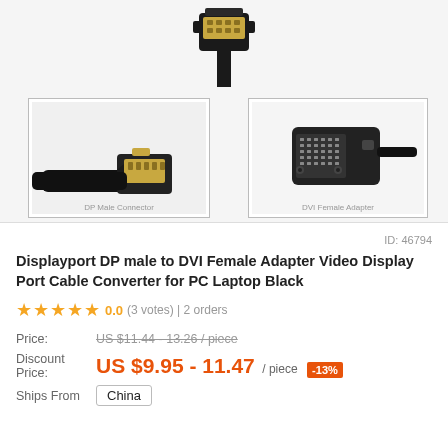[Figure (photo): Product images: top connector photo, left photo of DP male connector end, right photo of DVI female adapter]
ID: 46794
Displayport DP male to DVI Female Adapter Video Display Port Cable Converter for PC Laptop Black
★★★★★ 0.0 (3 votes) | 2 orders
| Price: | US $11.44 - 13.26 / piece |
| Discount Price: | US $9.95 - 11.47 / piece -13% |
| Ships From | China |